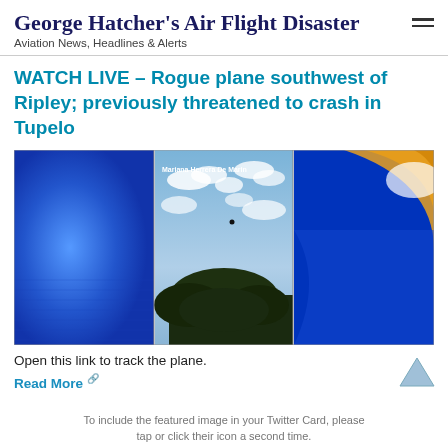George Hatcher's Air Flight Disaster — Aviation News, Headlines & Alerts
WATCH LIVE – Rogue plane southwest of Ripley; previously threatened to crash in Tupelo
[Figure (photo): Composite image showing three panels: left panel with blue gradient/glow, center panel with a small plane visible in a cloudy sky above a tree (watermarked Mariana Herrera De Marin), right panel with blue and gold broadcast graphic]
Open this link to track the plane.
Read More ↗
To include the featured image in your Twitter Card, please tap or click their icon a second time.